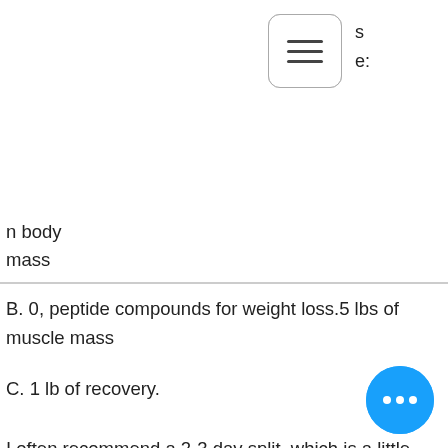[Figure (other): Hamburger menu icon button - rounded rectangle with three horizontal lines]
s
e:
n body mass
B. 0, peptide compounds for weight loss.5 lbs of muscle mass
C. 1 lb of recovery.
I often recommend a 2-3 day split, which is a little less than that recommended by the research but still allows you to keep your blood glucose up over time.
In terms of a post workout recovery period, I recommend a 5-6 hour recovery after a hGH cycle, best steroids for cutting.